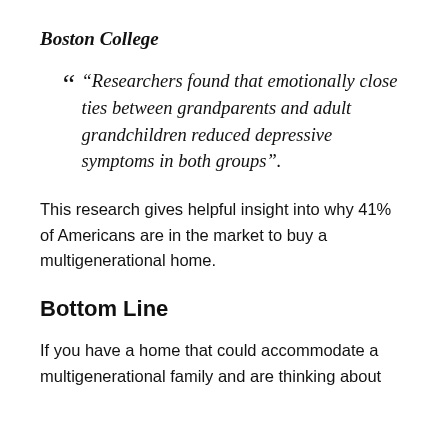Boston College
“Researchers found that emotionally close ties between grandparents and adult grandchildren reduced depressive symptoms in both groups”.
This research gives helpful insight into why 41% of Americans are in the market to buy a multigenerational home.
Bottom Line
If you have a home that could accommodate a multigenerational family and are thinking about